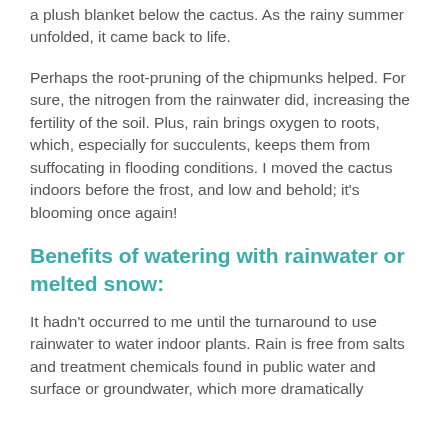a plush blanket below the cactus. As the rainy summer unfolded, it came back to life.
Perhaps the root-pruning of the chipmunks helped. For sure, the nitrogen from the rainwater did, increasing the fertility of the soil. Plus, rain brings oxygen to roots, which, especially for succulents, keeps them from suffocating in flooding conditions. I moved the cactus indoors before the frost, and low and behold; it's blooming once again!
Benefits of watering with rainwater or melted snow:
It hadn't occurred to me until the turnaround to use rainwater to water indoor plants. Rain is free from salts and treatment chemicals found in public water and surface or groundwater, which more dramatically